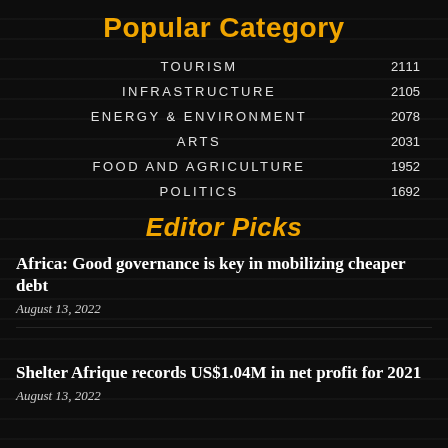Popular Category
TOURISM   2111
INFRASTRUCTURE   2105
ENERGY & ENVIRONMENT   2078
ARTS   2031
FOOD AND AGRICULTURE   1952
POLITICS   1692
Editor Picks
Africa: Good governance is key in mobilizing cheaper debt
August 13, 2022
Shelter Afrique records US$1.04M in net profit for 2021
August 13, 2022